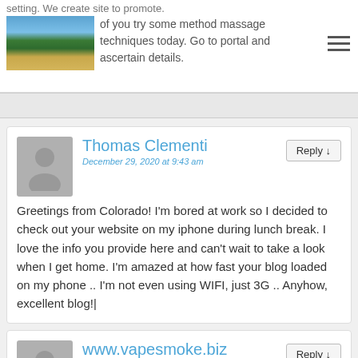setting. We create site to promote.
of you try some method massage techniques today. Go to portal and ascertain details.
Thomas Clementi
December 29, 2020 at 9:43 am
Greetings from Colorado! I'm bored at work so I decided to check out your website on my iphone during lunch break. I love the info you provide here and can't wait to take a look when I get home. I'm amazed at how fast your blog loaded on my phone .. I'm not even using WIFI, just 3G .. Anyhow, excellent blog!|
www.vapesmoke.biz
December 29, 2020 at 9:43 am
Great article.